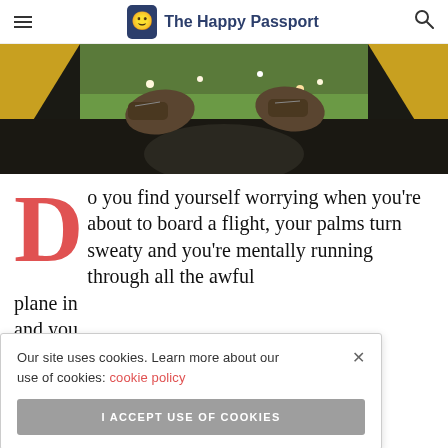The Happy Passport
[Figure (photo): View from inside a tent looking out at boots/legs of a person lying down, with green grass and wildflowers outside. Yellow tent fabric visible on sides.]
Do you find yourself worrying when you're about to board a flight, your palms turn sweaty and you're mentally running through all the awful [things that can happen on a] plane in [the air? If you suffer from] and you [have flight] anxiety [and] you want to travel but can't force yourself to get on that
Our site uses cookies. Learn more about our use of cookies: cookie policy
I ACCEPT USE OF COOKIES